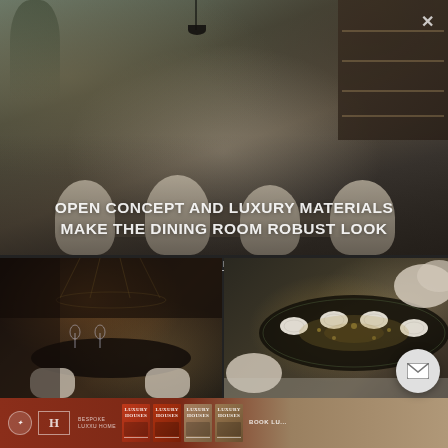[Figure (photo): Luxury dining room interior with cream/beige curved chairs around a dark table, pendant lighting, large window with trees visible, and a bookshelf on the right side. Moody, sophisticated atmosphere.]
OPEN CONCEPT AND LUXURY MATERIALS MAKE THE DINING ROOM ROBUST LOOK
STEP INSIDE›
[Figure (photo): Dark luxury kitchen/dining interior with dramatic hanging chandelier, dark marble surfaces, crystal glassware, and a round dark dining table with white chairs.]
[Figure (photo): Luxury dining setup with an oval dark marble/granite table with white plates set for multiple guests, cream curved chairs, and a neutral stone floor.]
[Figure (other): Footer bar showing brand logos (circular emblem, H logo), 'BESPOKE' and 'LUXXU HOME' brand names, four Luxury Houses book covers in dark red/tan colors, and 'BOOK LU...' text on a dark red and tan gradient background.]